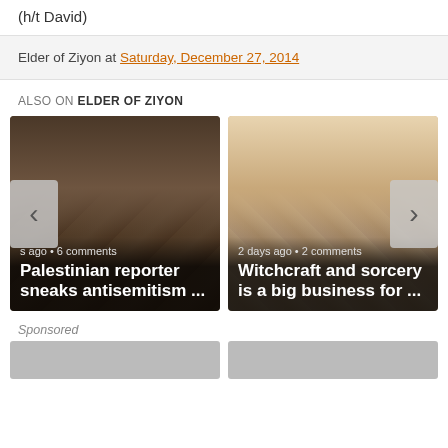(h/t David)
Elder of Ziyon at Saturday, December 27, 2014
ALSO ON ELDER OF ZIYON
[Figure (photo): Thumbnail of Palestinian reporter story — courtroom/meeting room scene with people seated]
s ago • 6 comments
Palestinian reporter sneaks antisemitism ...
[Figure (photo): Thumbnail of witchcraft story — medieval Islamic manuscript illustration with figures]
2 days ago • 2 comments
Witchcraft and sorcery is a big business for ...
Sponsored